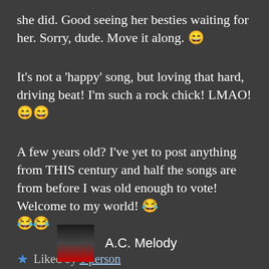she did. Good seeing her besties waiting for her. Sorry, dude. Move it along. 😄
It's not a 'happy' song, but loving that hard, driving beat! I'm such a rock chick! LMAO! 😄😄
A few years old? I've yet to post anything from THIS century and half the songs are from before I was old enough to vote! Welcome to my world! 😂😂😂
★ Liked by 1 person
Reply
A.C. Melody